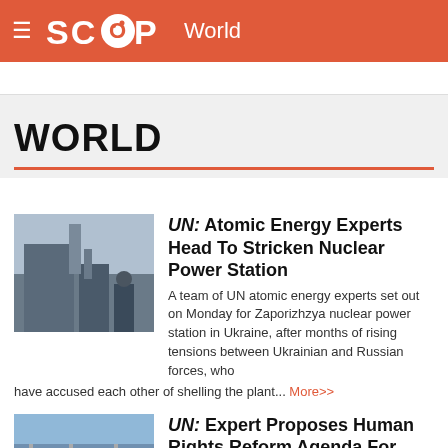SCOOP World
WORLD
UN: Atomic Energy Experts Head To Stricken Nuclear Power Station
A team of UN atomic energy experts set out on Monday for Zaporizhzya nuclear power station in Ukraine, after months of rising tensions between Ukrainian and Russian forces, who have accused each other of shelling the plant... More>>
UN: Expert Proposes Human Rights Reform Agenda For